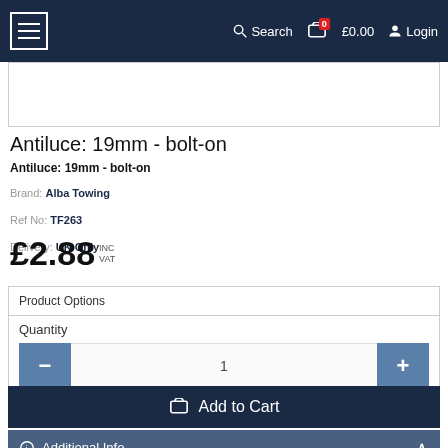Search  £0.00  Login
[Figure (screenshot): Product image placeholder area (white box with border)]
Antiluce: 19mm - bolt-on
Antiluce: 19mm - bolt-on
Brand: Alba Towing
Ref No: TF263
Delivery: UK Only
£2.88 INC VAT
Product Options
Quantity
1
Add to Cart
Additional Info